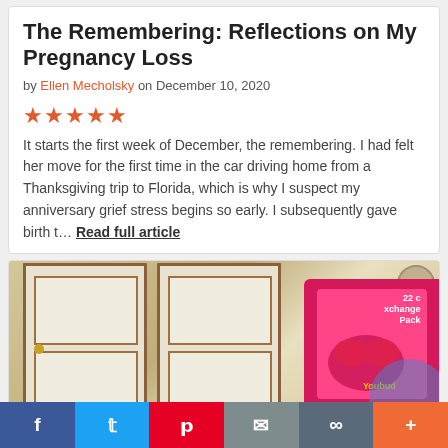The Remembering: Reflections on My Pregnancy Loss
by Ellen Mecholsky on December 10, 2020
[Figure (other): 5-star rating shown as red/orange filled stars]
It starts the first week of December, the remembering. I had felt her move for the first time in the car driving home from a Thanksgiving trip to Florida, which is why I suspect my anniversary grief stress begins so early. I subsequently gave birth t… Read full article
[Figure (photo): Interior room photo showing white bi-fold closet doors with brown wood frames, and a Valentine's Day card box (22 count Exchange Pack) visible on the right side with pink and red hearts design. A round clock is visible in the upper right corner.]
f  t  p  [mail]  [link]  +